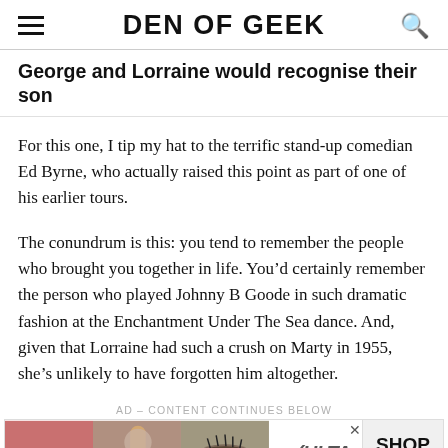DEN OF GEEK
George and Lorraine would recognise their son
For this one, I tip my hat to the terrific stand-up comedian Ed Byrne, who actually raised this point as part of one of his earlier tours.
The conundrum is this: you tend to remember the people who brought you together in life. You’d certainly remember the person who played Johnny B Goode in such dramatic fashion at the Enchantment Under The Sea dance. And, given that Lorraine had such a crush on Marty in 1955, she’s unlikely to have forgotten him altogether.
AD – CONTENT CONTINUES BELOW
[Figure (advertisement): Ulta Beauty advertisement banner with makeup/cosmetic imagery, ULTA logo, and SHOP NOW call to action]